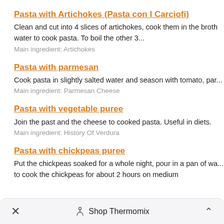Pasta with Artichokes (Pasta con I Carciofi)
Clean and cut into 4 slices of artichokes, cook them in the broth water to cook pasta. To boil the other 3...
Main ingredient: Artichokes
Pasta with parmesan
Cook pasta in slightly salted water and season with tomato, par...
Main ingredient: Parmesan Cheese
Pasta with vegetable puree
Join the past and the cheese to cooked pasta. Useful in diets.
Main ingredient: History Of Verdura
Pasta with chickpeas puree
Put the chickpeas soaked for a whole night, pour in a pan of wa... to cook the chickpeas for about 2 hours on medium
× Shop Thermomix ^